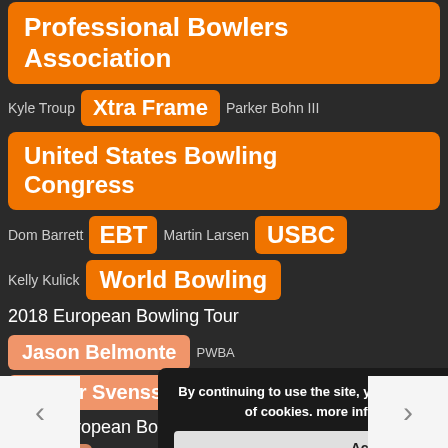Professional Bowlers Association
Kyle Troup  Xtra Frame  Parker Bohn III
United States Bowling Congress
Dom Barrett  EBT  Martin Larsen  USBC
Kelly Kulick  World Bowling
2018 European Bowling Tour
Jason Belmonte  PWBA
Jesper Svensson
2017 European Bowling Tour
S Sport  New  Games
Tackett  Marshall Kent  Francois Lavoie
By continuing to use the site, you agree to the use of cookies. more information  Accept